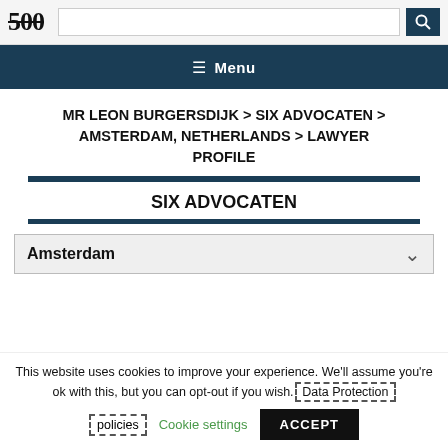500 | Search bar | Menu
MR LEON BURGERSDIJK > SIX ADVOCATEN > AMSTERDAM, NETHERLANDS > LAWYER PROFILE
SIX ADVOCATEN
Amsterdam
This website uses cookies to improve your experience. We'll assume you're ok with this, but you can opt-out if you wish. Data Protection policies Cookie settings ACCEPT